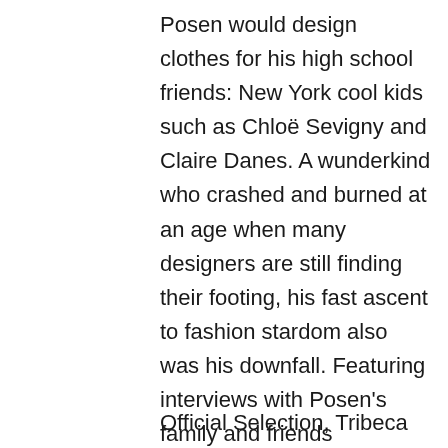Posen would design clothes for his high school friends: New York cool kids such as Chloë Sevigny and Claire Danes. A wunderkind who crashed and burned at an age when many designers are still finding their footing, his fast ascent to fashion stardom also was his downfall. Featuring interviews with Posen's family and friends (including Naomi Campbell and André Leon Talley) and lots of style, House of Z follows Posen's rise and fall…and, at last, his recovery.
Official Selection, Tribeca Film